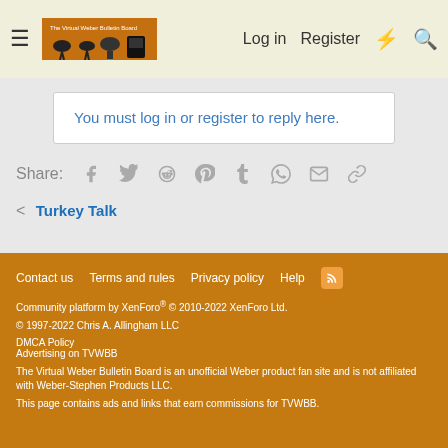Log in   Register
You must log in or register to reply here.
Share:
Turkey Talk
Contact us   Terms and rules   Privacy policy   Help
Community platform by XenForo® © 2010-2022 XenForo Ltd.
© 1997-2022 Chris A. Allingham LLC
DMCA Policy
Advertising on TVWBB
The Virtual Weber Bulletin Board is an unofficial Weber product fan site and is not affiliated with Weber-Stephen Products LLC.
This page contains ads and links that earn commissions for TVWBB.